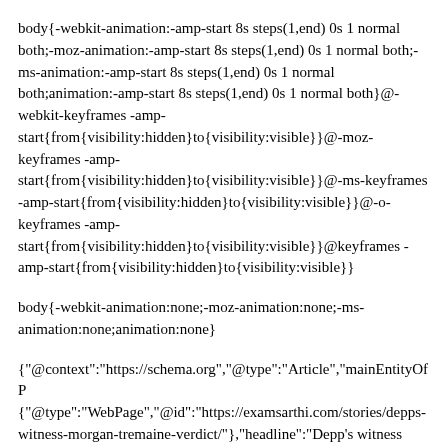body{-webkit-animation:-amp-start 8s steps(1,end) 0s 1 normal both;-moz-animation:-amp-start 8s steps(1,end) 0s 1 normal both;-ms-animation:-amp-start 8s steps(1,end) 0s 1 normal both;animation:-amp-start 8s steps(1,end) 0s 1 normal both}@-webkit-keyframes -amp-start{from{visibility:hidden}to{visibility:visible}}@-moz-keyframes -amp-start{from{visibility:hidden}to{visibility:visible}}@-ms-keyframes -amp-start{from{visibility:hidden}to{visibility:visible}}@-o-keyframes -amp-start{from{visibility:hidden}to{visibility:visible}}@keyframes -amp-start{from{visibility:hidden}to{visibility:visible}}
body{-webkit-animation:none;-moz-animation:none;-ms-animation:none;animation:none}
{"@context":"https://schema.org","@type":"Article","mainEntityOfPage":{"@type":"WebPage","@id":"https://examsarthi.com/stories/depps-witness-morgan-tremaine-verdict/"},"headline":"Depp's witness Morgan Tremaine verdict","keywords":"Keyword johnny depps witness morgan tremaine download johnny depps witness morgan tremaine full movie johnny depps witness morgan tremaine watch online johnny depps witness morgan tremaine pdf johnny depps witness morgan tremaine movie","description":"Keyword johnny